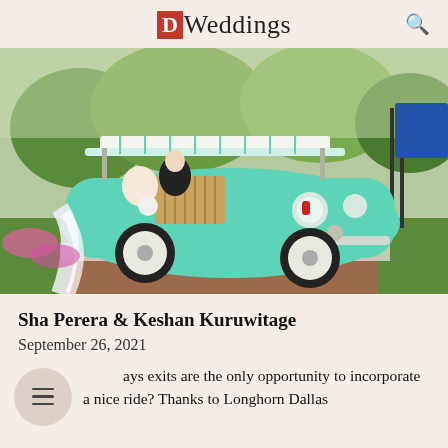D Weddings
[Figure (photo): A bride in a white gown and groom in a tuxedo seated in a vintage mint-green Fiat 500 convertible with a wicker interior and striped canopy top, parked on a brick path surrounded by white flowers and green landscaping.]
Sha Perera & Keshan Kuruwitage
September 26, 2021
Who says exits are the only opportunity to incorporate a nice ride? Thanks to Longhorn Dallas